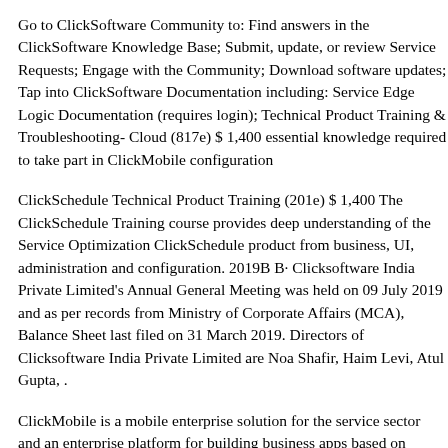Go to ClickSoftware Community to: Find answers in the ClickSoftware Knowledge Base; Submit, update, or review Service Requests; Engage with the Community; Download software updates; Tap into ClickSoftware Documentation including: Service Edge Logic Documentation (requires login); Technical Product Training & Troubleshooting- Cloud (817e) $ 1,400 essential knowledge required to take part in ClickMobile configuration
ClickSchedule Technical Product Training (201e) $ 1,400 The ClickSchedule Training course provides deep understanding of the Service Optimization ClickSchedule product from business, UI, administration and configuration. 2019B B· Clicksoftware India Private Limited's Annual General Meeting was held on 09 July 2019 and as per records from Ministry of Corporate Affairs (MCA), Balance Sheet last filed on 31 March 2019. Directors of Clicksoftware India Private Limited are Noa Shafir, Haim Levi, Atul Gupta, .
ClickMobile is a mobile enterprise solution for the service sector and an enterprise platform for building business apps based on HTML5. ClickMobile is an application platform designed to connect mobile workers with multiple back-end systems. ClickMobile provides a list of productivity apps targeted to